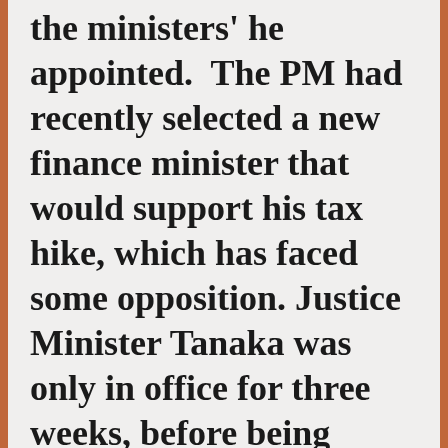the ministers' he appointed.  The PM had recently selected a new finance minister that would support his tax hike, which has faced some opposition. Justice Minister Tanaka was only in office for three weeks, before being forced to resign.  Shortly